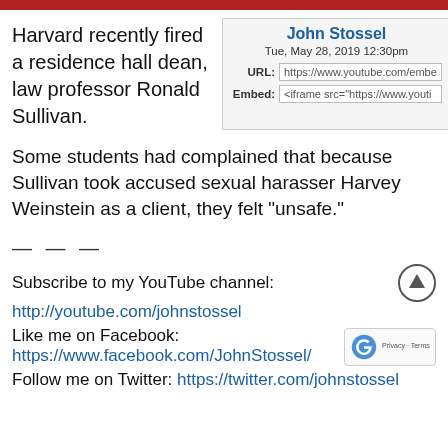Harvard recently fired a residence hall dean, law professor Ronald Sullivan.
[Figure (other): John Stossel video embed card showing name, date Tue, May 28, 2019 12:30pm, URL and Embed fields]
Some students had complained that because Sullivan took accused sexual harasser Harvey Weinstein as a client, they felt “unsafe.”
— — —
Subscribe to my YouTube channel:
http://youtube.com/johnstossel
Like me on Facebook:
https://www.facebook.com/JohnStossel/
Follow me on Twitter: https://twitter.com/johnstossel